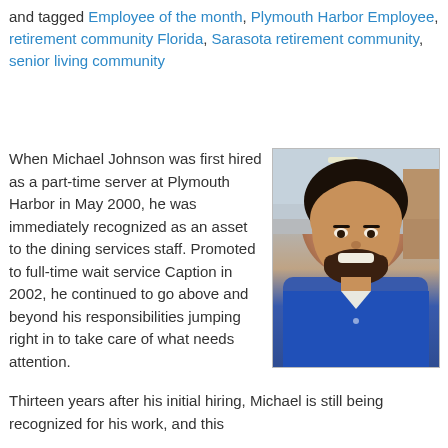and tagged Employee of the month, Plymouth Harbor Employee, retirement community Florida, Sarasota retirement community, senior living community
When Michael Johnson was first hired as a part-time server at Plymouth Harbor in May 2000, he was immediately recognized as an asset to the dining services staff. Promoted to full-time wait service Caption in 2002, he continued to go above and beyond his responsibilities jumping right in to take care of what needs attention.
[Figure (photo): Portrait photo of Michael Johnson, a smiling man with dark hair and beard wearing a blue polo shirt, photographed indoors.]
Thirteen years after his initial hiring, Michael is still being recognized for his work, and this